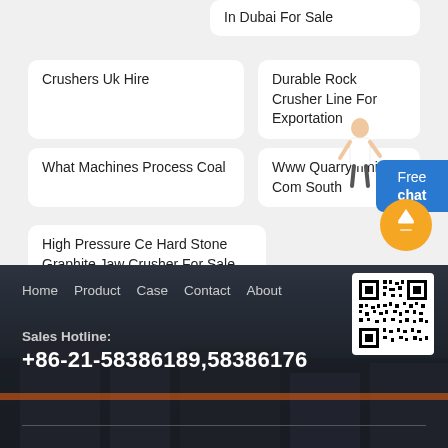In Dubai For Sale
Crushers Uk Hire
Durable Rock Crusher Line For Exportation
What Machines Process Coal
Www Quarrymining Com South
High Pressure Ce Hard Stone Graphite Jaw Crusher For Sale
[Figure (illustration): Blue Free Chat button with illustrated woman figure]
[Figure (illustration): Orange circular up arrow scroll-to-top button]
Home   Product   Case   Contact   About
Sales Hotline:
+86-21-58386189,58386176
[Figure (other): QR code image for website contact]